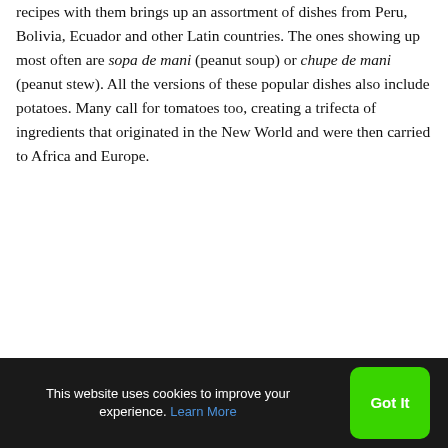recipes with them brings up an assortment of dishes from Peru, Bolivia, Ecuador and other Latin countries. The ones showing up most often are sopa de mani (peanut soup) or chupe de mani (peanut stew). All the versions of these popular dishes also include potatoes. Many call for tomatoes too, creating a trifecta of ingredients that originated in the New World and were then carried to Africa and Europe.
This website uses cookies to improve your experience. Learn More